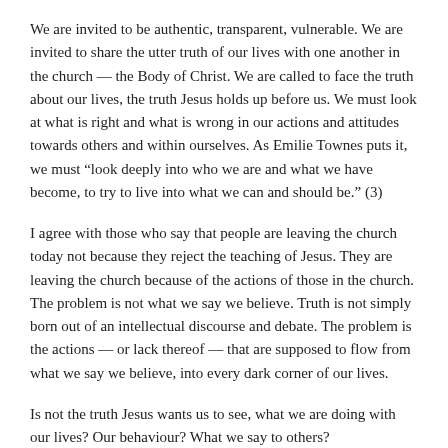We are invited to be authentic, transparent, vulnerable. We are invited to share the utter truth of our lives with one another in the church — the Body of Christ. We are called to face the truth about our lives, the truth Jesus holds up before us. We must look at what is right and what is wrong in our actions and attitudes towards others and within ourselves. As Emilie Townes puts it, we must “look deeply into who we are and what we have become, to try to live into what we can and should be.” (3)
I agree with those who say that people are leaving the church today not because they reject the teaching of Jesus. They are leaving the church because of the actions of those in the church. The problem is not what we say we believe. Truth is not simply born out of an intellectual discourse and debate. The problem is the actions — or lack thereof — that are supposed to flow from what we say we believe, into every dark corner of our lives.
Is not the truth Jesus wants us to see, what we are doing with our lives? Our behaviour? What we say to others?